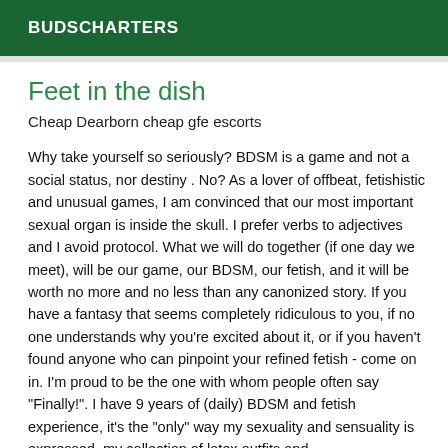BUDSCHARTERS
Feet in the dish
Cheap Dearborn cheap gfe escorts
Why take yourself so seriously? BDSM is a game and not a social status, nor destiny . No? As a lover of offbeat, fetishistic and unusual games, I am convinced that our most important sexual organ is inside the skull. I prefer verbs to adjectives and I avoid protocol. What we will do together (if one day we meet), will be our game, our BDSM, our fetish, and it will be worth no more and no less than any canonized story. If you have a fantasy that seems completely ridiculous to you, if no one understands why you're excited about it, or if you haven't found anyone who can pinpoint your refined fetish - come on in. I'm proud to be the one with whom people often say "Finally!". I have 9 years of (daily) BDSM and fetish experience, it's the "only" way my sexuality and sensuality is expressed, my collection of latex outfits and